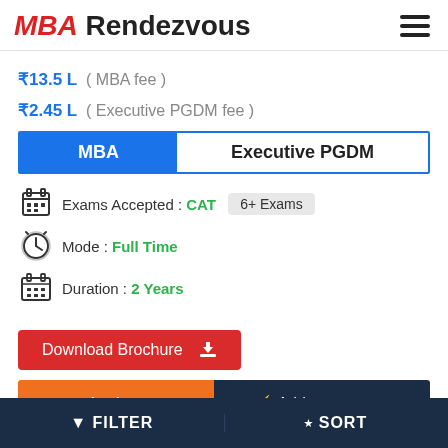MBA Rendezvous
₹13.5 L ( MBA fee )
₹2.45 L ( Executive PGDM fee )
MBA | Executive PGDM
Exams Accepted : CAT  6+ Exams
Mode : Full Time
Duration : 2 Years
Download Brochure
✓ Apply now
⚡ Add to compare
▼ FILTER   ⬥ SORT